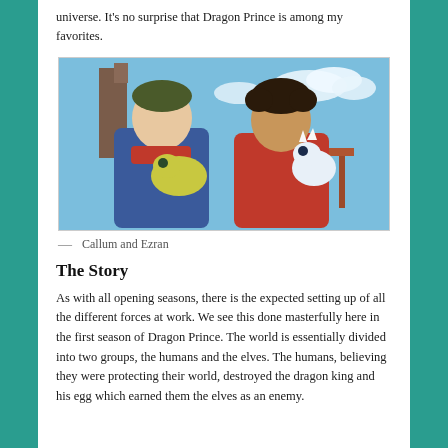universe. It’s no surprise that Dragon Prince is among my favorites.
[Figure (photo): Animated characters Callum and Ezran from The Dragon Prince, shown with a small yellow-green creature and a baby white dragon. They stand in front of a blue sky with clouds.]
— Callum and Ezran
The Story
As with all opening seasons, there is the expected setting up of all the different forces at work. We see this done masterfully here in the first season of Dragon Prince. The world is essentially divided into two groups, the humans and the elves. The humans, believing they were protecting their world, destroyed the dragon king and his egg which earned them the elves as an enemy.